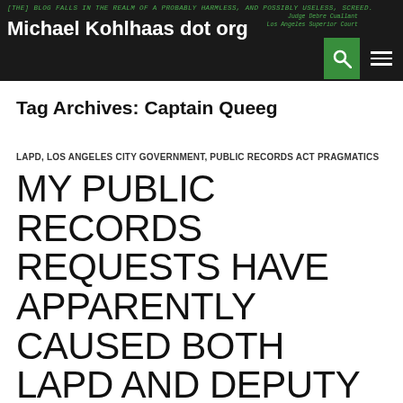[THE] BLOG FALLS IN THE REALM OF A PROBABLY HARMLESS, AND POSSIBLY USELESS, SCREED.
Judge Debre Cuallant Los Angeles Superior Court
Michael Kohlhaas dot org
Tag Archives: Captain Queeg
LAPD, LOS ANGELES CITY GOVERNMENT, PUBLIC RECORDS ACT PRAGMATICS
MY PUBLIC RECORDS REQUESTS HAVE APPARENTLY CAUSED BOTH LAPD AND DEPUTY CITY ATTORNEY BETHEL WEL WILSON TO